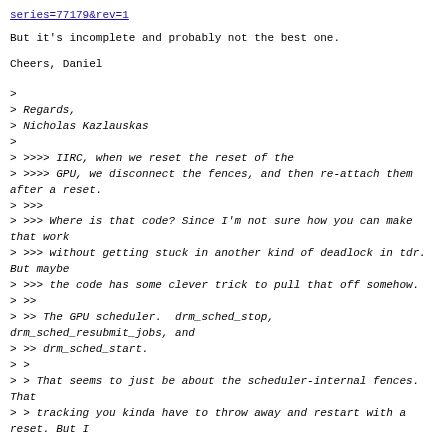series=77179&rev=1
But it's incomplete and probably not the best one.
Cheers, Daniel
>
> Regards,
> Nicholas Kazlauskas
>
> >>>> IIRC, when we reset the reset of the
> >>>> GPU, we disconnect the fences, and then re-attach them after a reset.
> >>>
> >>> Where is that code? Since I'm not sure how you can make that work
> >>> without getting stuck in another kind of deadlock in tdr. But maybe
> >>> the code has some clever trick to pull that off somehow.
> >>
> >> The GPU scheduler.  drm_sched_stop, drm_sched_resubmit_jobs, and
> >> drm_sched_start.
> >
> > That seems to just be about the scheduler-internal fences. That
> > tracking you kinda have to throw away and restart with a reset. But I